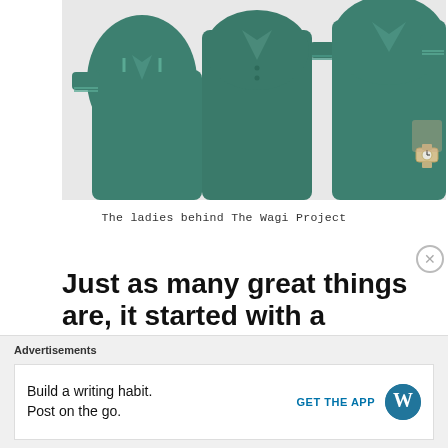[Figure (photo): Three people wearing green polo shirts, cropped at torso level, standing side by side. One person is wearing a watch.]
The ladies behind The Wagi Project
Just as many great things are, it started with a vision.
It started with a vision to help students, and soon enough, it translated into a whole operation. The first two laptops were their own company devices (since
Advertisements
Build a writing habit.
Post on the go.
GET THE APP